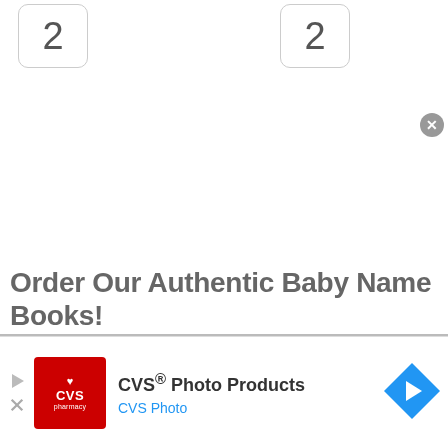[Figure (screenshot): Two rounded-rectangle cards each showing the number 2, positioned at the top left and top center of the page]
Order Our Authentic Baby Name Books!
[Figure (screenshot): CVS Pharmacy advertisement banner with CVS logo, text 'CVS® Photo Products' and 'CVS Photo' in blue, and a blue navigation arrow icon on the right]